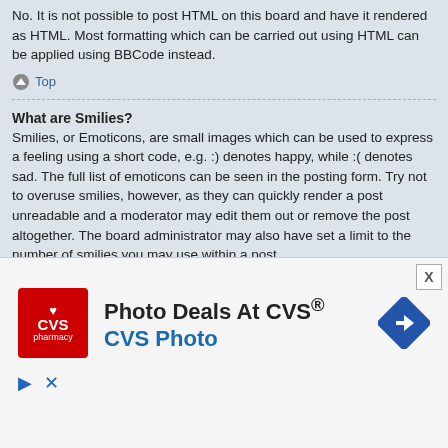No. It is not possible to post HTML on this board and have it rendered as HTML. Most formatting which can be carried out using HTML can be applied using BBCode instead.
Top
What are Smilies?
Smilies, or Emoticons, are small images which can be used to express a feeling using a short code, e.g. :) denotes happy, while :( denotes sad. The full list of emoticons can be seen in the posting form. Try not to overuse smilies, however, as they can quickly render a post unreadable and a moderator may edit them out or remove the post altogether. The board administrator may also have set a limit to the number of smilies you may use within a post.
Top
Can I post images?
Yes, images can be shown in your posts. If the administrator has allowed attachments, you may be able to upload the image to the board. Otherwise, you must link to an image stored on a publicly accessible web server, e.g.
[Figure (infographic): CVS Photo advertisement banner showing CVS pharmacy logo, 'Photo Deals At CVS®' text, 'CVS Photo' subtitle in blue, and a blue navigation arrow icon.]